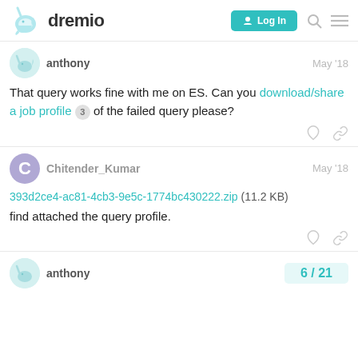dremio — Log In
anthony — May '18
That query works fine with me on ES. Can you download/share a job profile 3 of the failed query please?
Chitender_Kumar — May '18
393d2ce4-ac81-4cb3-9e5c-1774bc430222.zip (11.2 KB)
find attached the query profile.
anthony — 6 / 21